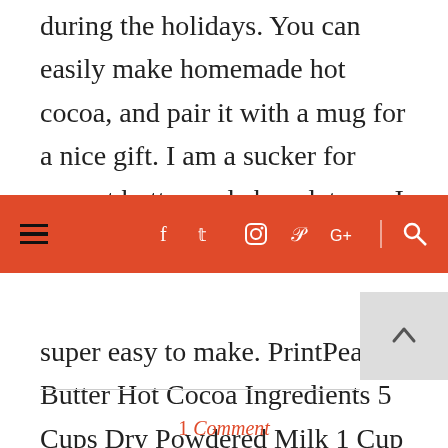during the holidays. You can easily make homemade hot cocoa, and pair it with a mug for a nice gift. I am a sucker for peanut butter and chocolate, so I thought
Navigation bar with hamburger menu and social icons: facebook, twitter, instagram, pinterest, google+, search
super easy to make. PrintPeanut Butter Hot Cocoa Ingredients 5 Cups Dry Powdered Milk 1 Cup Unsweetened Cocoa…
READ MORE
1 Comment